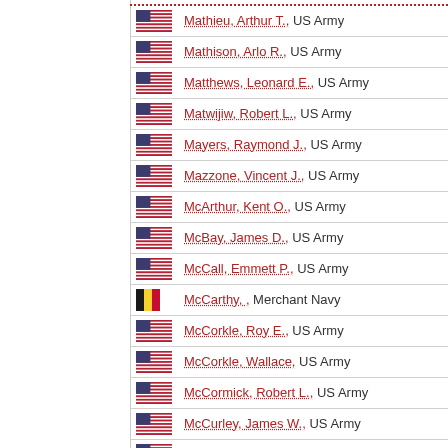Mathieu, Arthur T., US Army
Mathison, Arlo R., US Army
Matthews, Leonard E., US Army
Matwijiw, Robert L., US Army
Mayers, Raymond J., US Army
Mazzone, Vincent J., US Army
McArthur, Kent O., US Army
McBay, James D., US Army
McCall, Emmett P., US Army
McCarthy, , Merchant Navy
McCorkle, Roy E., US Army
McCorkle, Wallace, US Army
McCormick, Robert L., US Army
McCurley, James W., US Army
McDaniel, Everette N., US Army
McDermott, John M., US Army
McDonnott, Thomas J., US Army